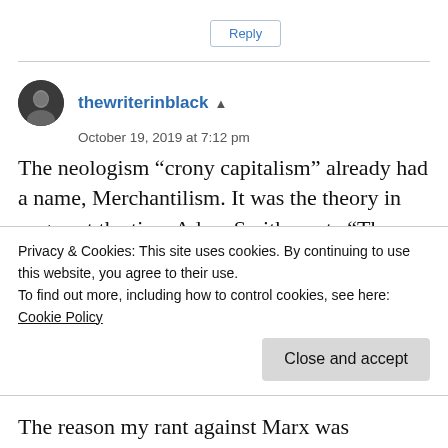Reply
thewriterinblack ▲
October 19, 2019 at 7:12 pm
The neologism “crony capitalism” already had a name, Merchantilism. It was the theory in vogue at the time Adam Smith wrote “The Wealth of Nations”and against which it was
Privacy & Cookies: This site uses cookies. By continuing to use this website, you agree to their use.
To find out more, including how to control cookies, see here:
Cookie Policy
Close and accept
The reason my rant against Marx was